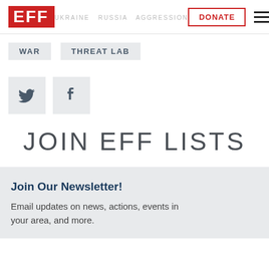EFF | UKRAINE | RUSSIA | AGGRESSION | DONATE
WAR
THREAT LAB
[Figure (infographic): Twitter bird icon button and Facebook f icon button, both on light grey background]
JOIN EFF LISTS
Join Our Newsletter!
Email updates on news, actions, events in your area, and more.